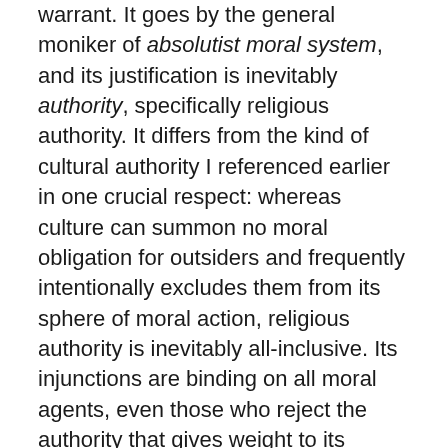warrant. It goes by the general moniker of absolutist moral system, and its justification is inevitably authority, specifically religious authority. It differs from the kind of cultural authority I referenced earlier in one crucial respect: whereas culture can summon no moral obligation for outsiders and frequently intentionally excludes them from its sphere of moral action, religious authority is inevitably all-inclusive. Its injunctions are binding on all moral agents, even those who reject the authority that gives weight to its dictates. Religions may thus be termed absolutist in two senses: their moral injunctions are beyond dispute and they obligate even non-believers to the same behavior as believers.
It is worth noting that the truth claims of absolutist moral systems share and prepare the way for the goodness claims that derive from them. The morality they command